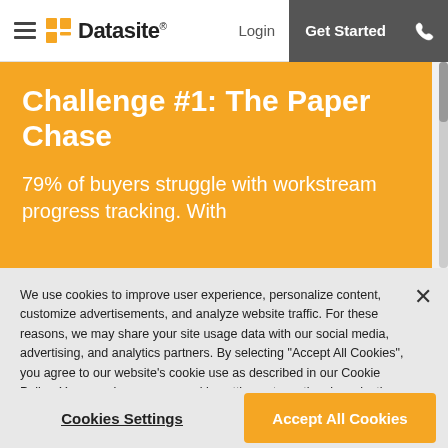Datasite — Login | Get Started
Challenge #1: The Paper Chase
79% of buyers struggle with workstream progress tracking. With
We use cookies to improve user experience, personalize content, customize advertisements, and analyze website traffic. For these reasons, we may share your site usage data with our social media, advertising, and analytics partners. By selecting "Accept All Cookies", you agree to our website's cookie use as described in our Cookie Policy. You can change your cookie settings at any time by selecting "Cookie Settings." Privacy Policy
Cookies Settings
Accept All Cookies